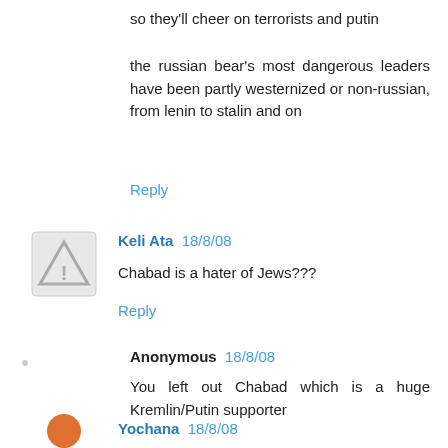so they'll cheer on terrorists and putin
the russian bear's most dangerous leaders have been partly westernized or non-russian, from lenin to stalin and on
Reply
Keli Ata  18/8/08
Chabad is a hater of Jews???
Reply
Anonymous  18/8/08
You left out Chabad which is a huge Kremlin/Putin supporter
Reply
Yochana  18/8/08